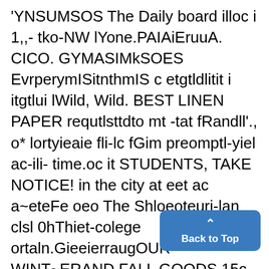'YNSUMSOS The Daily board illoc i 1,,- tko-NW lYone.PAIAiEruuA. CICO. GYMASIMkSOES EvrperymISitnthmIS c etgtldlitit i itgtlui lWild, Wild. BEST LINEN PAPER requtlsttdto mt -tat fRandll'., o* lortyieaie fli-lc fGim preomptl-yiel ac-ili- time.oc it STUDENTS, TAKE NOTICE! in the city at eet ac a~eteFe oeo The Shloeoteuri-lan clsl 0hThiet-colege ortaln.GieeierraugOUR WINT~ERAND FALL GOODS 15c and 20C Per Pound. tdaytt mios'ngitiy:'~teirnatis.uiioraty Oalteck as tt